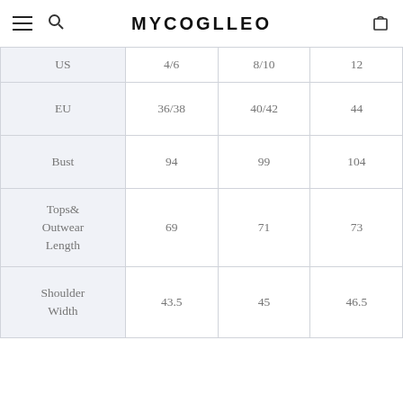Mycoglleo — navigation header with menu, search, logo, and cart icons
|  | S | M | L | XL |
| --- | --- | --- | --- | --- |
| US | 4/6 | 8/10 | 12 | 1… |
| EU | 36/38 | 40/42 | 44 | 4… |
| Bust | 94 | 99 | 104 | 10… |
| Tops & Outwear Length | 69 | 71 | 73 | 7… |
| Shoulder Width | 43.5 | 45 | 46.5 | 4… |